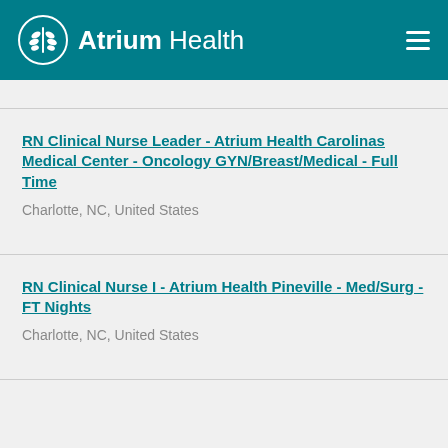Atrium Health
RN Clinical Nurse Leader - Atrium Health Carolinas Medical Center - Oncology GYN/Breast/Medical - Full Time
Charlotte, NC, United States
RN Clinical Nurse I - Atrium Health Pineville - Med/Surg - FT Nights
Charlotte, NC, United States